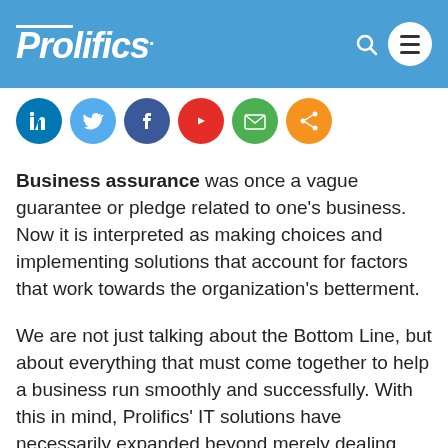Prolifics
[Figure (other): Social media sharing icons row: LinkedIn (blue), Twitter (light blue), Facebook (dark blue), YouTube (red), Email (green), Share (orange)]
Business assurance was once a vague guarantee or pledge related to one's business. Now it is interpreted as making choices and implementing solutions that account for factors that work towards the organization's betterment.
We are not just talking about the Bottom Line, but about everything that must come together to help a business run smoothly and successfully. With this in mind, Prolifics' IT solutions have necessarily expanded beyond merely dealing with immediate technical problems or needs to